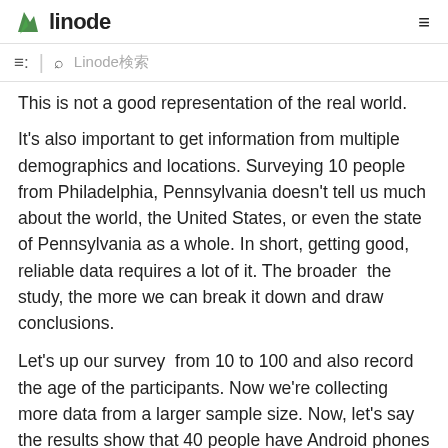linode
≡  🔍  Linode検索
This is not a good representation of the real world.
It's also important to get information from multiple demographics and locations. Surveying 10 people from Philadelphia, Pennsylvania doesn't tell us much about the world, the United States, or even the state of Pennsylvania as a whole. In short, getting good, reliable data requires a lot of it. The broader the study, the more we can break it down and draw conclusions.
Let's up our survey from 10 to 100 and also record the age of the participants. Now we're collecting more data from a larger sample size. Now, let's say the results show that 40 people have Android phones and 60 have iPhones. This is still a very small sample but we can see